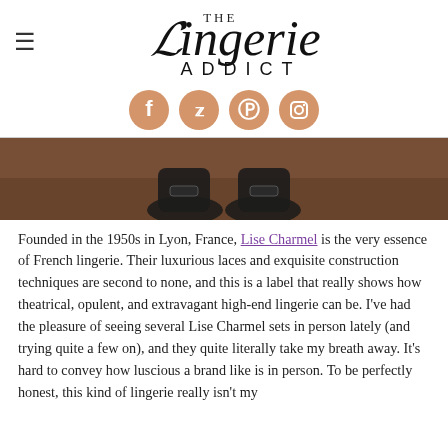The Lingerie Addict
[Figure (logo): The Lingerie Addict logo with script font and social media icons (Facebook, Twitter, Pinterest, Instagram)]
[Figure (photo): Close-up photo of black heeled shoes on a wooden floor surface, cropped at top of frame]
Founded in the 1950s in Lyon, France, Lise Charmel is the very essence of French lingerie. Their luxurious laces and exquisite construction techniques are second to none, and this is a label that really shows how theatrical, opulent, and extravagant high-end lingerie can be. I've had the pleasure of seeing several Lise Charmel sets in person lately (and trying quite a few on), and they quite literally take my breath away. It's hard to convey how luscious a brand like is in person. To be perfectly honest, this kind of lingerie really isn't my